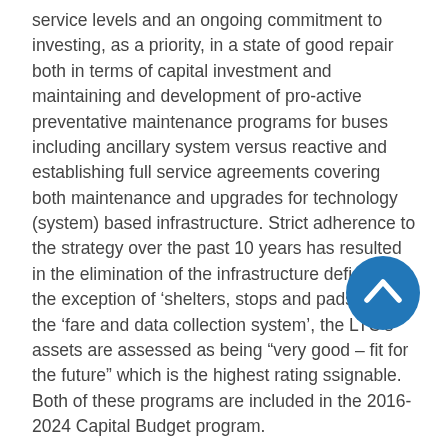service levels and an ongoing commitment to investing, as a priority, in a state of good repair both in terms of capital investment and maintaining and development of pro-active preventative maintenance programs for buses including ancillary system versus reactive and establishing full service agreements covering both maintenance and upgrades for technology (system) based infrastructure. Strict adherence to the strategy over the past 10 years has resulted in the elimination of the infrastructure deficit. With the exception of ‘shelters, stops and pads’ and the ‘fare and data collection system’, the LTC’s assets are assessed as being “very good – fit for the future” which is the highest rating ssignable. Both of these programs are included in the 2016-2024 Capital Budget program.
[Figure (other): Blue circular button with a white upward chevron/arrow icon, used as a back-to-top navigation button]
The announcement of the Public Transit Infrastructure Funding program by the Federal government in 2016 provided the opportunity to review existing and future infrastructure needs and address them in a more timely